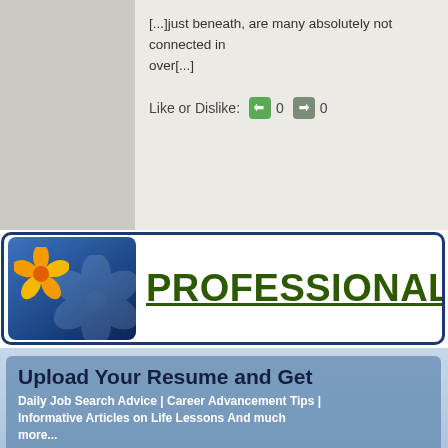[...]just beneath, are many absolutely not connected in over[...]
Like or Dislike: 0 0
[Figure (logo): Professional advice website banner with blue gradient logo containing flower icon and text PROFESSIONAL ADVI... in dark green underlined font]
Upload Your Resume and Get
Daily Job Search Advice | Career Advancement Tips | Informative Articles on Life Lessons And much more...
Email Address [input field]
Upload Resume Choose File No file chosen